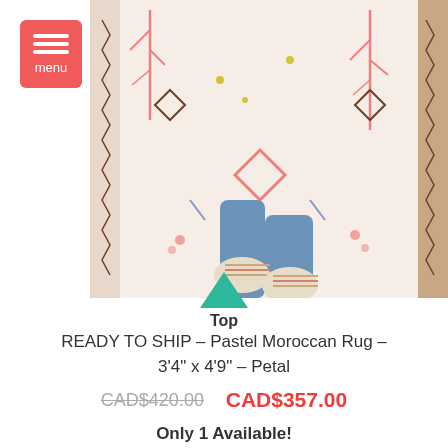[Figure (photo): A colorful pastel Moroccan rug photographed from above with a person standing on it wearing sneakers and jeans]
Top
READY TO SHIP – Pastel Moroccan Rug – 3'4" x 4'9" – Petal
CAD$420.00  CAD$357.00
Only 1 Available!